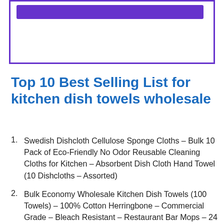[Figure (other): Purple bordered banner box with a solid purple button/bar at the top]
Top 10 Best Selling List for kitchen dish towels wholesale
Swedish Dishcloth Cellulose Sponge Cloths – Bulk 10 Pack of Eco-Friendly No Odor Reusable Cleaning Cloths for Kitchen – Absorbent Dish Cloth Hand Towel (10 Dishcloths – Assorted)
Bulk Economy Wholesale Kitchen Dish Towels (100 Towels) – 100% Cotton Herringbone – Commercial Grade – Bleach Resistant – Restaurant Bar Mops – 24 oz/dz – White with Red Stripes (Red, 100)
Microfiber Waffle Weave Kitchen and Dish Drying Towels | 16 x 24 in. (6 Pack) | Absorbent, Streak Free, Thick, Hand, Tea, Glass, Bar, Sublimation, Polyester Cloths |